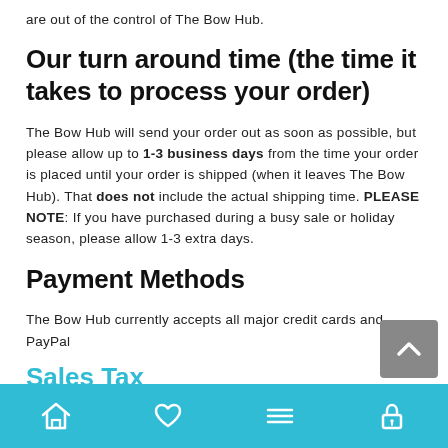are out of the control of The Bow Hub.
Our turn around time (the time it takes to process your order)
The Bow Hub will send your order out as soon as possible, but please allow up to 1-3 business days from the time your order is placed until your order is shipped (when it leaves The Bow Hub). That does not include the actual shipping time. PLEASE NOTE: If you have purchased during a busy sale or holiday season, please allow 1-3 extra days.
Payment Methods
The Bow Hub currently accepts all major credit cards and PayPal
Sales Tax